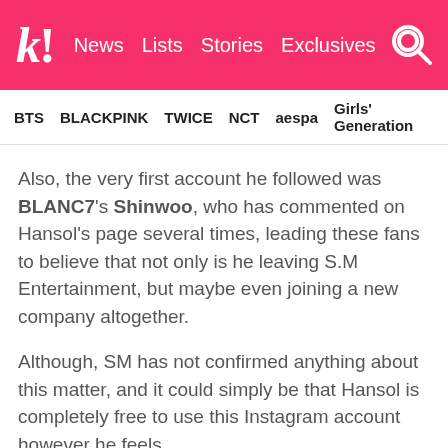k! News  Lists  Stories  Exclusives
BTS  BLACKPINK  TWICE  NCT  aespa  Girls' Generation
Also, the very first account he followed was BLANC7's Shinwoo, who has commented on Hansol's page several times, leading these fans to believe that not only is he leaving S.M Entertainment, but maybe even joining a new company altogether.
Although, SM has not confirmed anything about this matter, and it could simply be that Hansol is completely free to use this Instagram account however he feels.
Check out some of Hansol's first few